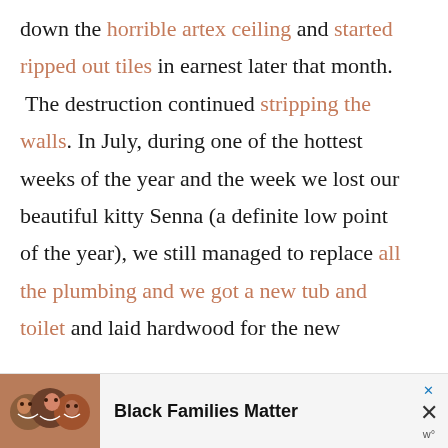down the horrible artex ceiling and started ripped out tiles in earnest later that month. The destruction continued stripping the walls. In July, during one of the hottest weeks of the year and the week we lost our beautiful kitty Senna (a definite low point of the year), we still managed to replace all the plumbing and we got a new tub and toilet and laid hardwood for the new
[Figure (infographic): Advertisement banner at the bottom showing three smiling people on the left and text 'Black Families Matter' on the right with close buttons]